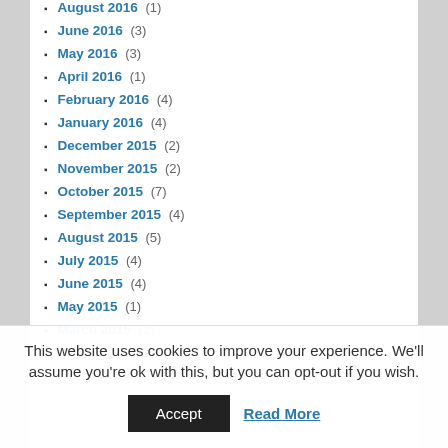August 2016 (1)
June 2016 (3)
May 2016 (3)
April 2016 (1)
February 2016 (4)
January 2016 (4)
December 2015 (2)
November 2015 (2)
October 2015 (7)
September 2015 (4)
August 2015 (5)
July 2015 (4)
June 2015 (4)
May 2015 (1)
March 2015 (2)
February 2015 (4)
January 2015 (4)
This website uses cookies to improve your experience. We'll assume you're ok with this, but you can opt-out if you wish.
Accept
Read More